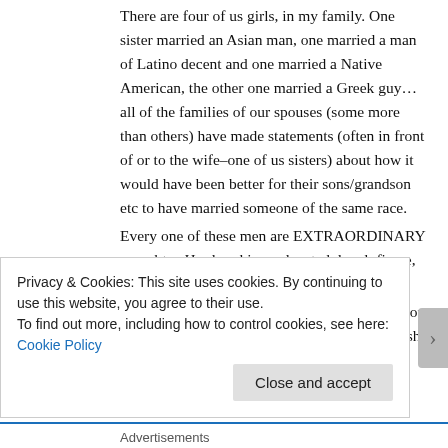There are four of us girls, in my family. One sister married an Asian man, one married a man of Latino decent and one married a Native American, the other one married a Greek guy…all of the families of our spouses (some more than others) have made statements (often in front of or to the wife–one of us sisters) about how it would have been better for their sons/grandson etc to have married someone of the same race.
Every one of these men are EXTRAORDINARY men, btw. Hardworking, educated, loyal, fierce, articulate, adoring, brave and strong…
I asked my mom one time what she thought about none of her grand kids looking like her (Scottish redhead) her answer was long winded (it's hereditary) but the short of it is that she was proud of herself for raising kids who
Privacy & Cookies: This site uses cookies. By continuing to use this website, you agree to their use.
To find out more, including how to control cookies, see here: Cookie Policy
Close and accept
Advertisements